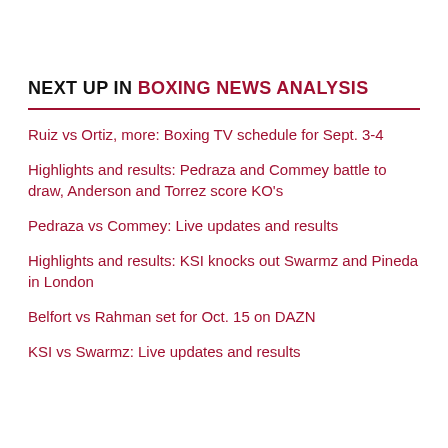NEXT UP IN BOXING NEWS ANALYSIS
Ruiz vs Ortiz, more: Boxing TV schedule for Sept. 3-4
Highlights and results: Pedraza and Commey battle to draw, Anderson and Torrez score KO's
Pedraza vs Commey: Live updates and results
Highlights and results: KSI knocks out Swarmz and Pineda in London
Belfort vs Rahman set for Oct. 15 on DAZN
KSI vs Swarmz: Live updates and results